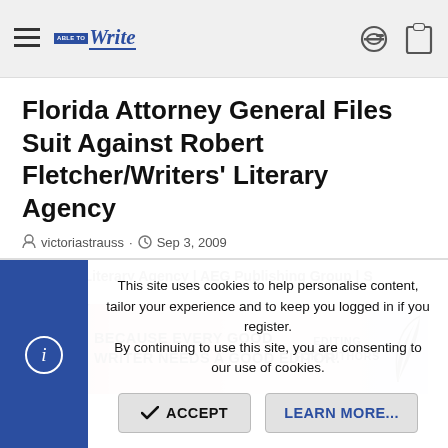AbleToWrite navigation bar with logo
Florida Attorney General Files Suit Against Robert Fletcher/Writers' Literary Agency
victoriastrauss · Sep 3, 2009
< Writers Literary Agency | AEG Publishing Group | S
[Figure (illustration): Banner ad: FREE SAMPLE EDIT — BECAUSE EVERY GOOD WRITER NEEDS A GOOD EDITOR. EDITING FOR AUTHORS, with feather quill graphic]
This site uses cookies to help personalise content, tailor your experience and to keep you logged in if you register. By continuing to use this site, you are consenting to our use of cookies.
ACCEPT   LEARN MORE...